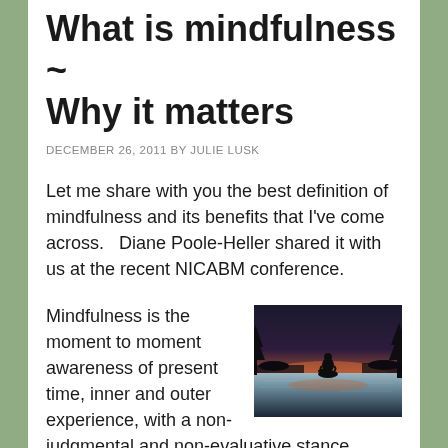What is mindfulness ~ Why it matters
DECEMBER 26, 2011 BY JULIE LUSK
Let me share with you the best definition of mindfulness and its benefits that I've come across.   Diane Poole-Heller shared it with us at the recent NICABM conference.
Mindfulness is the moment to moment awareness of present time, inner and outer experience, with a non-judgmental and non-evaluative stance.
[Figure (photo): Silhouette of a person meditating on a rock in a lake at sunset/dusk, with calm water reflecting the sky]
Research has shown that a mindfulness practice helps develop all 9 functions of the Pre-Frontal Cortex.